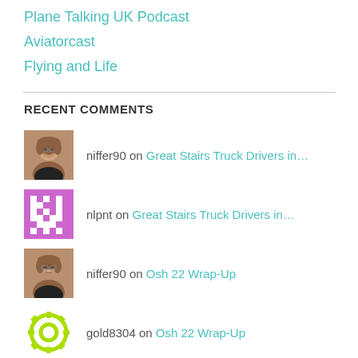Plane Talking UK Podcast
Aviatorcast
Flying and Life
RECENT COMMENTS
niffer90 on Great Stairs Truck Drivers in…
nlpnt on Great Stairs Truck Drivers in…
niffer90 on Osh 22 Wrap-Up
gold8304 on Osh 22 Wrap-Up
niffer90 on Osh 22 Wrap-Up